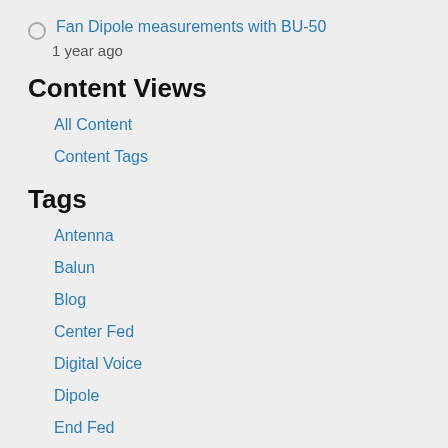Fan Dipole measurements with BU-50
1 year ago
Content Views
All Content
Content Tags
Tags
Antenna
Balun
Blog
Center Fed
Digital Voice
Dipole
End Fed
Impedance transformer
MMDVM